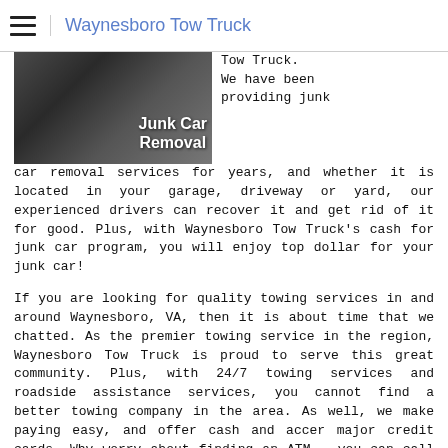Waynesboro Tow Truck
[Figure (photo): Photo of a white truck/vehicle with text overlay reading 'Junk Car Removal']
Tow Truck. We have been providing junk car removal services for years, and whether it is located in your garage, driveway or yard, our experienced drivers can recover it and get rid of it for good. Plus, with Waynesboro Tow Truck's cash for junk car program, you will enjoy top dollar for your junk car!
If you are looking for quality towing services in and around Waynesboro, VA, then it is about time that we chatted. As the premier towing service in the region, Waynesboro Tow Truck is proud to serve this great community. Plus, with 24/7 towing services and roadside assistance services, you cannot find a better towing company in the area. As well, we make paying easy, and offer cash and accept major credit cards. Why worry about finding an ATM when you can call the experts at Waynesboro Tow Truck for all